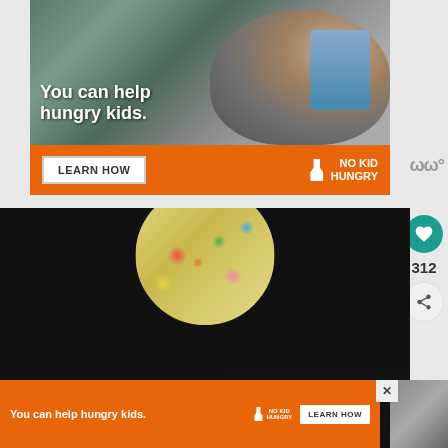[Figure (photo): Top advertisement banner for No Kid Hungry: photo of a child eating, with text 'You can help hungry kids.' on orange background with LEARN HOW button and No Kid Hungry logo]
[Figure (photo): Circular food photo on dark background showing a slice of colorful speckled cake (Fruity Pebble Poke Cake)]
WHAT'S NEXT → Fruity Pebble Poke Cake
312
[Figure (photo): Bottom advertisement banner for No Kid Hungry: 'You can help hungry kids.' with No Kid Hungry logo and LEARN HOW button on orange background]